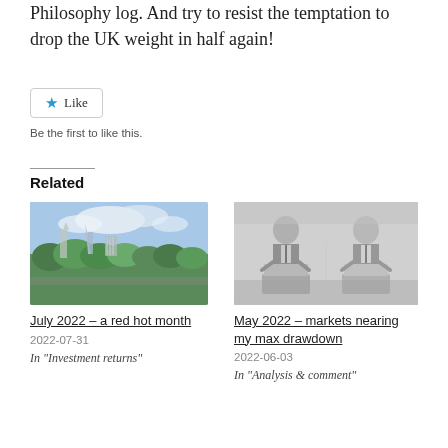Philosophy log. And try to resist the temptation to drop the UK weight in half again!
[Figure (other): Like button with blue star icon]
Be the first to like this.
Related
[Figure (photo): Aerial cityscape photo showing London skyline with The Shard and other buildings surrounded by green trees under a blue sky]
July 2022 – a red hot month
2022-07-31
In "Investment returns"
[Figure (photo): Black and white photo of two men in suits speaking at podiums]
May 2022 – markets nearing my max drawdown
2022-06-03
In "Analysis & comment"